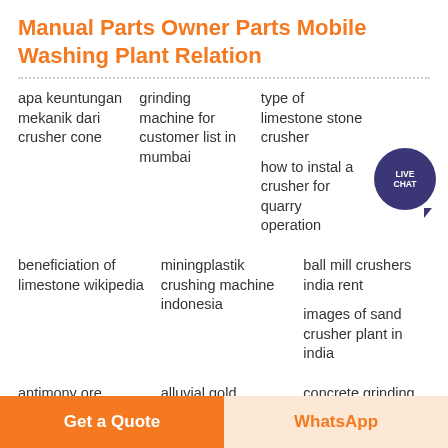Manual Parts Owner Parts Mobile Washing Plant Relation
apa keuntungan mekanik dari crusher cone
grinding machine for customer list in mumbai
type of limestone stone crusher
how to instal a crusher for quarry operation
beneficiation of limestone wikipedia
miningplastik crushing machine indonesia
ball mill crushers india rent
images of sand crusher plant in india
antimony ore beneficiation plant for sale
alluvial gold panning malaysia in london
concrete grinding bay area